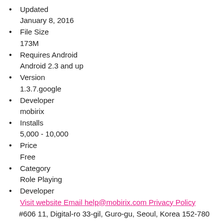Updated
January 8, 2016
File Size
173M
Requires Android
Android 2.3 and up
Version
1.3.7.google
Developer
mobirix
Installs
5,000 - 10,000
Price
Free
Category
Role Playing
Developer
Visit website Email help@mobirix.com Privacy Policy
#606 11, Digital-ro 33-gil, Guro-gu, Seoul, Korea 152-780